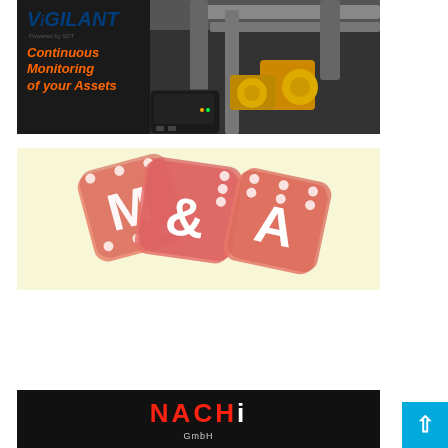[Figure (advertisement): Vigilant by SDT advertisement showing industrial monitoring device with text 'Continuous Monitoring of your Assets' on dark background with industrial pipes and yellow machinery in background]
[Figure (illustration): M&A (Mergers and Acquisitions) image showing three red dice with letters M, & and A on cream/yellow background]
[Figure (advertisement): NACHI GmbH advertisement on black background with NACHI logo in red and white]